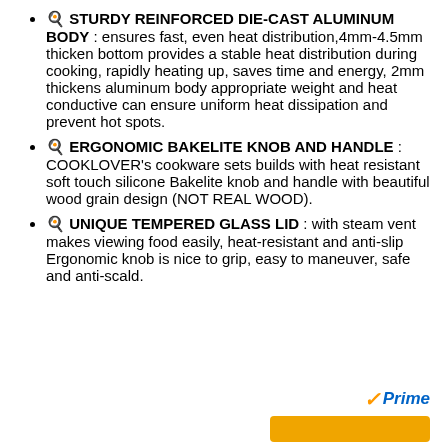🍳 STURDY REINFORCED DIE-CAST ALUMINUM BODY : ensures fast, even heat distribution,4mm-4.5mm thicken bottom provides a stable heat distribution during cooking, rapidly heating up, saves time and energy, 2mm thickens aluminum body appropriate weight and heat conductive can ensure uniform heat dissipation and prevent hot spots.
🍳 ERGONOMIC BAKELITE KNOB AND HANDLE : COOKLOVER's cookware sets builds with heat resistant soft touch silicone Bakelite knob and handle with beautiful wood grain design (NOT REAL WOOD).
🍳 UNIQUE TEMPERED GLASS LID : with steam vent makes viewing food easily, heat-resistant and anti-slip Ergonomic knob is nice to grip, easy to maneuver, safe and anti-scald.